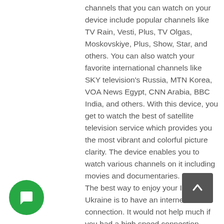channels that you can watch on your device include popular channels like TV Rain, Vesti, Plus, TV Olgas, Moskovskiye, Plus, Show, Star, and others. You can also watch your favorite international channels like SKY television's Russia, MTN Korea, VOA News Egypt, CNN Arabia, BBC India, and others. With this device, you get to watch the best of satellite television service which provides you the most vibrant and colorful picture clarity. The device enables you to watch various channels on it including movies and documentaries. The best way to enjoy your IPTV Ukraine is to have an internet connection. It would not help much if you had a high speed connection because the quality will be affected. The connection should